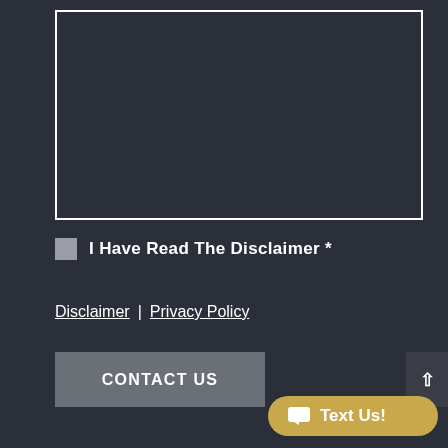[Figure (screenshot): Text area input field with white border on dark background]
I Have Read The Disclaimer *
Disclaimer | Privacy Policy
CONTACT US
Text Us!